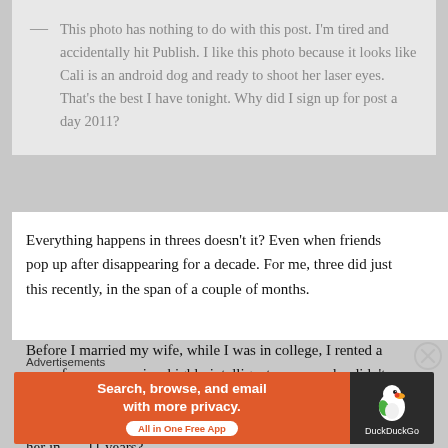— This photo has nothing to do with this post. I'm tired and accidentally hit Publish. I like this photo because it looks like Cali is an android dog and ready to shoot her laser eyes. That's the best I have tonight. Why did I sign up for post a day 2011?
Everything happens in threes doesn't it? Even when friends pop up after disappearing for a decade. For me, three did just this recently, in the span of a couple of months.
Before I married my wife, while I was in college, I rented a room from a very nice, highly intelligent woman who didn't like living alone. We were friends and then I moved in. When I got hitched, I moved out, of course. And I haven't spoked to her in . . . 11 years?
Advertisements
[Figure (infographic): DuckDuckGo advertisement banner: orange left side with text 'Search, browse, and email with more privacy. All in One Free App' and dark right side with DuckDuckGo duck logo and brand name.]